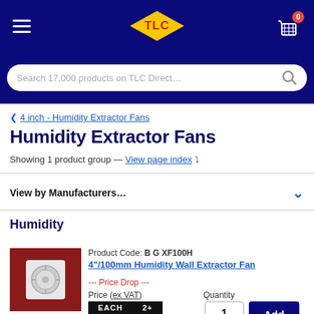[Figure (screenshot): TLC Direct website header with dark navy background, hamburger menu on left, TLC diamond logo in center (yellow diamond with red TLC text), shopping cart icon with 0 badge on right]
Search 17,000 products on TLC Direct…
< 4 inch - Humidity Extractor Fans
Humidity Extractor Fans
Showing 1 product group — View page index ▾
View by Manufacturers…
Humidity
Product Code: BG XF100H
4"/100mm Humidity Wall Extractor Fan
--- Price Drop ---
Price (ex VAT)
Quantity
| EACH | 2+ |
| --- | --- |
| £20.65 | £20.00 |